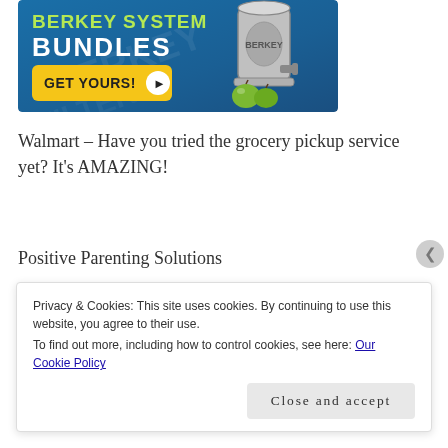[Figure (illustration): Advertisement banner for Berkey System Bundles with blue background, green text 'BERKEY SYSTEM', white text 'BUNDLES', yellow 'GET YOURS!' button with arrow, and a stainless steel water filter with green apples.]
Walmart – Have you tried the grocery pickup service yet? It’s AMAZING!
Positive Parenting Solutions
Privacy & Cookies: This site uses cookies. By continuing to use this website, you agree to their use.
To find out more, including how to control cookies, see here: Our Cookie Policy
Close and accept